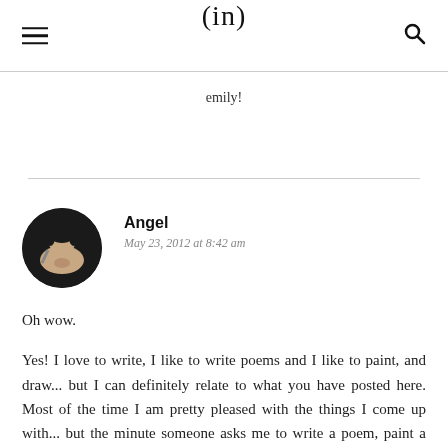(in)
emily!
Angel
May 23, 2012 at 8:42 am
Oh wow.

Yes! I love to write, I like to write poems and I like to paint, and draw... but I can definitely relate to what you have posted here. Most of the time I am pretty pleased with the things I come up with... but the minute someone asks me to write a poem, paint a picture, draw, or sew something up for them... I get very nervous. I